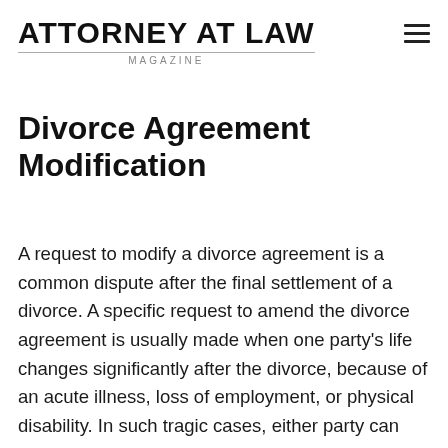ATTORNEY AT LAW MAGAZINE
Divorce Agreement Modification
A request to modify a divorce agreement is a common dispute after the final settlement of a divorce. A specific request to amend the divorce agreement is usually made when one party's life changes significantly after the divorce, because of an acute illness, loss of employment, or physical disability. In such tragic cases, either party can request the court